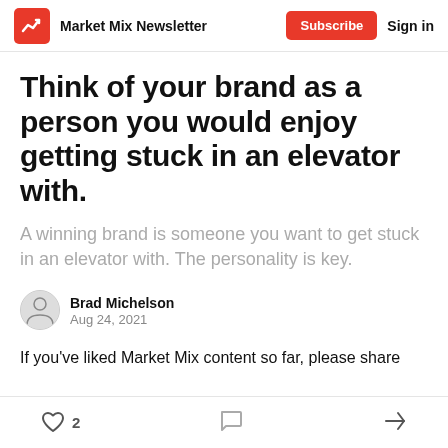Market Mix Newsletter | Subscribe | Sign in
Think of your brand as a person you would enjoy getting stuck in an elevator with.
A winning brand is someone you want to get stuck in an elevator with. The personality is key.
Brad Michelson
Aug 24, 2021
If you've liked Market Mix content so far, please share with your friends.
2 likes · comments · share